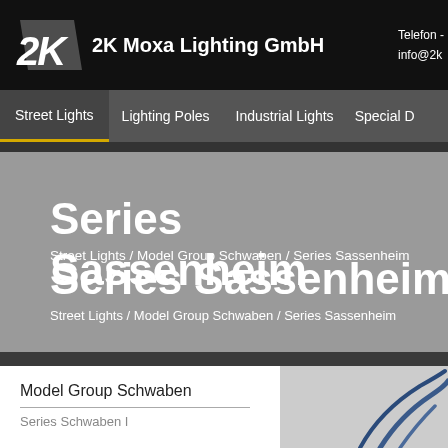2K Moxa Lighting GmbH | Telefon - | info@2k
Street Lights | Lighting Poles | Industrial Lights | Special D
Series Sassenheim
Street Lights / Model Group Schwaben / Series Sassenheim
Model Group Schwaben
Series Schwaben I